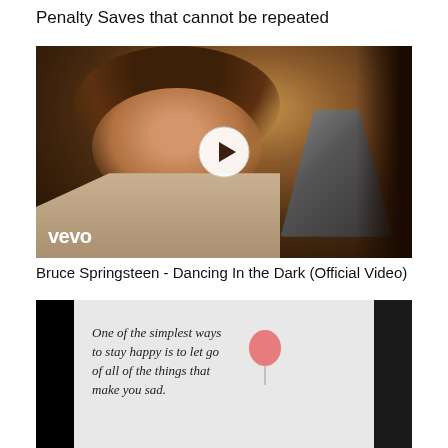Penalty Saves that cannot be repeated
[Figure (screenshot): Video thumbnail showing Bruce Springsteen singing into a microphone, dark background, with a Vevo watermark and a circular play button overlay]
Bruce Springsteen - Dancing In the Dark (Official Video)
[Figure (screenshot): Video thumbnail showing a motivational quote on light background with a pink balloon, flanked by black bars on either side. Text: 'One of the simplest ways to stay happy is to let go of all of the things that make you sad.']